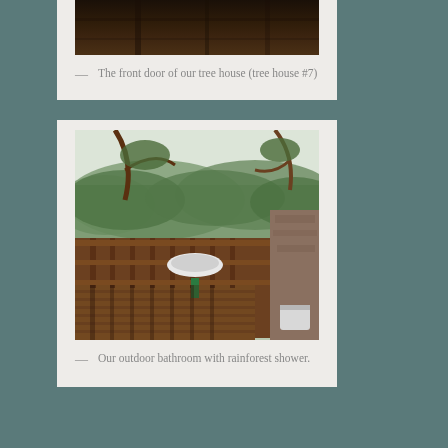[Figure (photo): Interior view of tree house front door, dark wooden structure]
— The front door of our tree house (tree house #7)
[Figure (photo): Outdoor bathroom on wooden deck/balcony of tree house with sink, surrounded by lush rainforest green hillside view]
— Our outdoor bathroom with rainforest shower.